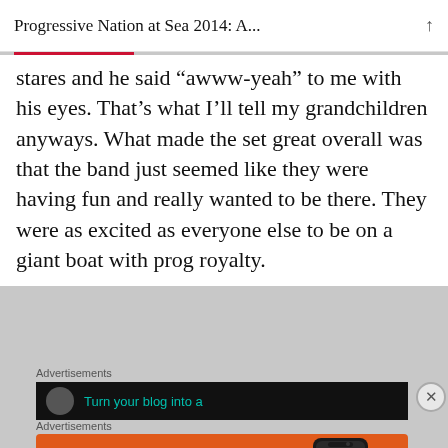Progressive Nation at Sea 2014: A...
stares and he said “awww-yeah” to me with his eyes. That’s what I’ll tell my grandchildren anyways. What made the set great overall was that the band just seemed like they were having fun and really wanted to be there. They were as excited as everyone else to be on a giant boat with prog royalty.
Advertisements
[Figure (screenshot): Dark advertisement banner with DuckDuckGo logo circle and teal text 'Turn your blog into a']
Advertisements
[Figure (screenshot): DuckDuckGo orange advertisement: 'Search, browse, and email with more privacy. All in One Free App' with phone graphic and DuckDuckGo logo]